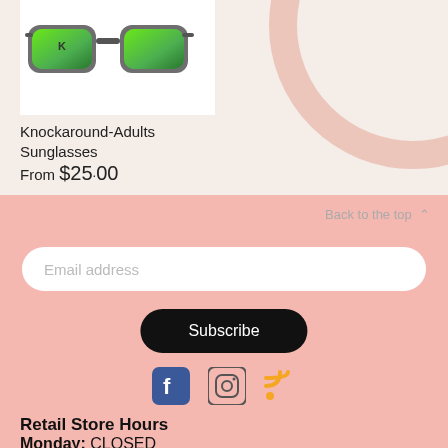[Figure (photo): Knockaround sunglasses with green mirrored lenses and gray frames on white background]
Knockaround-Adults Sunglasses
From $25.00
Back to the top ∧
Email address
Subscribe
[Figure (other): Facebook, Instagram, and RSS social media icons]
Retail Store Hours
Monday: CLOSED